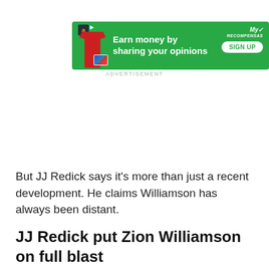[Figure (other): Green advertisement banner: 'Earn money by sharing your opinions' with Amazon and MyRecompensas branding, SIGN UP button]
ADVERTISEMENT
But JJ Redick says it's more than just a recent development. He claims Williamson has always been distant.
JJ Redick put Zion Williamson on full blast